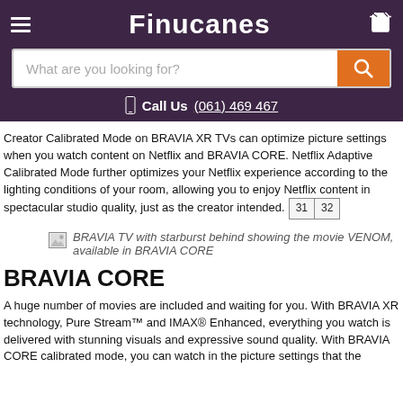Finucanes — Call Us (061) 469 467
Creator Calibrated Mode on BRAVIA XR TVs can optimize picture settings when you watch content on Netflix and BRAVIA CORE. Netflix Adaptive Calibrated Mode further optimizes your Netflix experience according to the lighting conditions of your room, allowing you to enjoy Netflix content in spectacular studio quality, just as the creator intended.
[Figure (photo): BRAVIA TV with starburst behind showing the movie VENOM, available in BRAVIA CORE]
BRAVIA CORE
A huge number of movies are included and waiting for you. With BRAVIA XR technology, Pure Stream™ and IMAX® Enhanced, everything you watch is delivered with stunning visuals and expressive sound quality. With BRAVIA CORE calibrated mode, you can watch in the picture settings that the